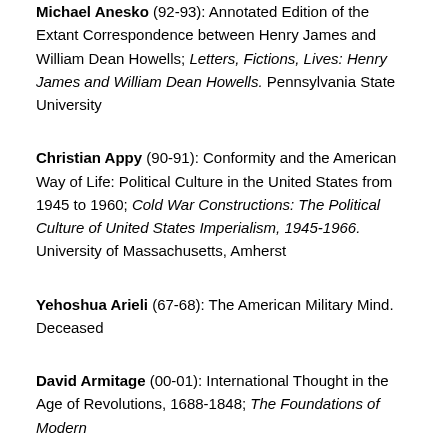Michael Anesko (92-93): Annotated Edition of the Extant Correspondence between Henry James and William Dean Howells; Letters, Fictions, Lives: Henry James and William Dean Howells. Pennsylvania State University
Christian Appy (90-91): Conformity and the American Way of Life: Political Culture in the United States from 1945 to 1960; Cold War Constructions: The Political Culture of United States Imperialism, 1945-1966. University of Massachusetts, Amherst
Yehoshua Arieli (67-68): The American Military Mind. Deceased
David Armitage (00-01): International Thought in the Age of Revolutions, 1688-1848; The Foundations of Modern